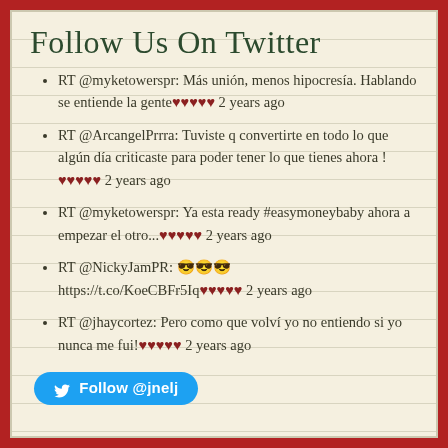Follow Us On Twitter
RT @myketowerspr: Más unión, menos hipocresía. Hablando se entiende la gente♥♥♥♥♥ 2 years ago
RT @ArcangelPrrra: Tuviste q convertirte en todo lo que algún día criticaste para poder tener lo que tienes ahora !♥♥♥♥♥ 2 years ago
RT @myketowerspr: Ya esta ready #easymoneybaby ahora a empezar el otro...♥♥♥♥♥ 2 years ago
RT @NickyJamPR: 😎😎😎 https://t.co/KoeCBFr5Iq♥♥♥♥♥ 2 years ago
RT @jhaycortez: Pero como que volví yo no entiendo si yo nunca me fui!♥♥♥♥♥ 2 years ago
Follow @jnelj